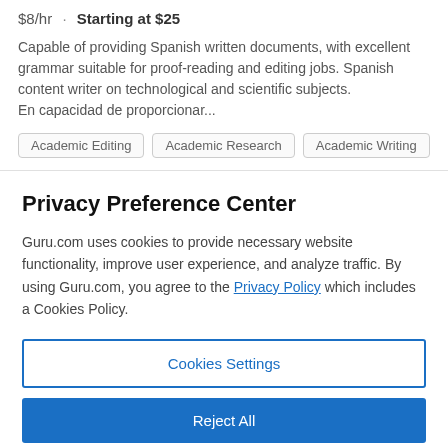$8/hr · Starting at $25
Capable of providing Spanish written documents, with excellent grammar suitable for proof-reading and editing jobs. Spanish content writer on technological and scientific subjects.
En capacidad de proporcionar...
Academic Editing
Academic Research
Academic Writing
Privacy Preference Center
Guru.com uses cookies to provide necessary website functionality, improve user experience, and analyze traffic. By using Guru.com, you agree to the Privacy Policy which includes a Cookies Policy.
Cookies Settings
Reject All
Accept All Cookies